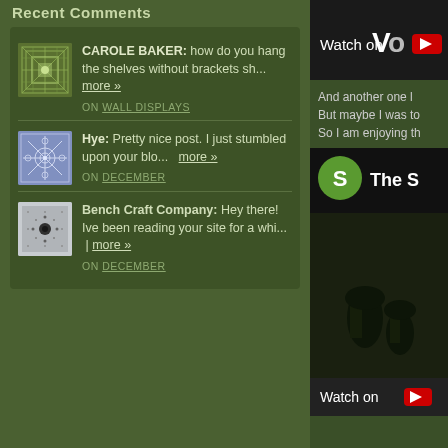Recent Comments
CAROLE BAKER: how do you hang the shelves without brackets sh... more » ON WALL DISPLAYS
Hye: Pretty nice post. I just stumbled upon your blo... more » ON DECEMBER
Bench Craft Company: Hey there! Ive been reading your site for a whi... | more » ON DECEMBER
[Figure (screenshot): Right panel showing YouTube-style video embeds with Watch on button, text snippet, and a dark video thumbnail with green S avatar and 'The S' title]
And another one l But maybe I was to So I am enjoying th